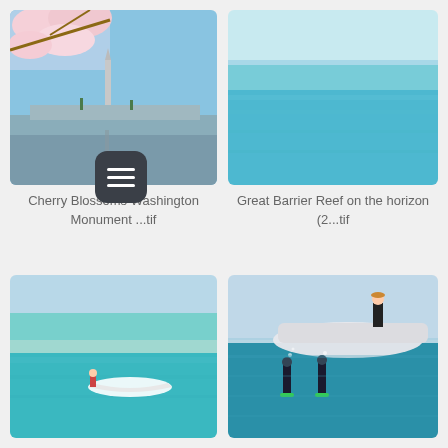[Figure (photo): Cherry blossoms in foreground with Washington Monument reflected in water, clear blue sky]
[Figure (photo): Great Barrier Reef aerial view showing turquoise water and reef on horizon]
Cherry Blossoms Washington Monument ...tif
Great Barrier Reef on the horizon (2...tif
[Figure (photo): Small white canoe on bright turquoise shallow reef water with a person paddling]
[Figure (photo): Split underwater/above water shot showing freedivers below and person standing on boat above]